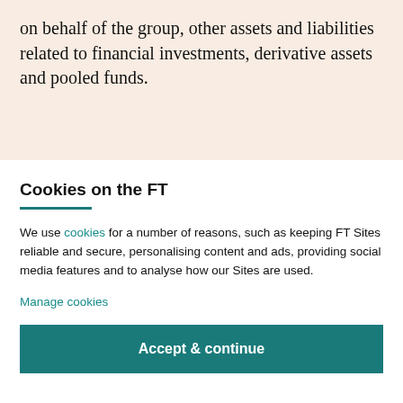on behalf of the group, other assets and liabilities related to financial investments, derivative assets and pooled funds.
Cookies on the FT
We use cookies for a number of reasons, such as keeping FT Sites reliable and secure, personalising content and ads, providing social media features and to analyse how our Sites are used.
Manage cookies
Accept & continue